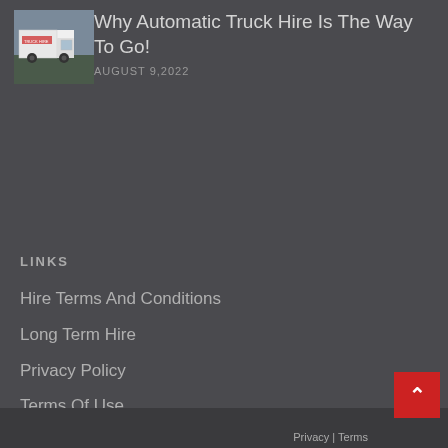[Figure (photo): White truck/van photo used as article thumbnail]
Why Automatic Truck Hire Is The Way To Go!
AUGUST 9,2022
LINKS
Hire Terms And Conditions
Long Term Hire
Privacy Policy
Terms Of Use
Privacy | Terms